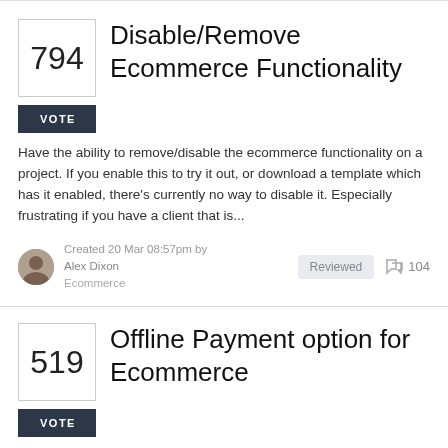Disable/Remove Ecommerce Functionality
Have the ability to remove/disable the ecommerce functionality on a project. If you enable this to try it out, or download a template which has it enabled, there's currently no way to disable it. Especially frustrating if you have a client that is...
Created 20 Mar 08:57pm by Alex Dixon
Ecommerce
Reviewed
104
Offline Payment option for Ecommerce
Some clients, especially with larger ticket items, or items that are customized post purchase (where the cost could change), would be best served by allowing them to pay offline (by check or other